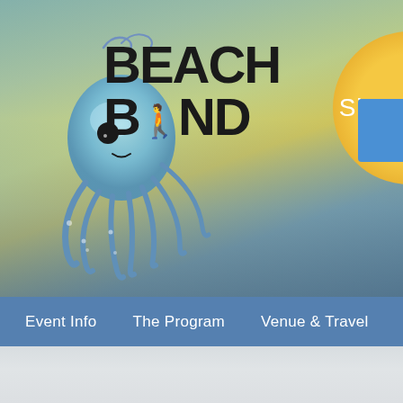[Figure (screenshot): Beach Bind website header with octopus logo, BEACH BIND text, beach sunset background, yellow sun with Sign Up text, blue button on right]
[Figure (screenshot): Navigation bar with menu items: Event Info, The Program, Venue & Travel, Get (truncated)]
[Figure (screenshot): Lower content area with light gray/white blurred background]